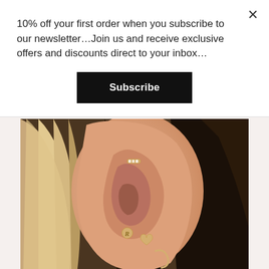10% off your first order when you subscribe to our newsletter…Join us and receive exclusive offers and discounts direct to your inbox…
Subscribe
[Figure (photo): Close-up photograph of a woman's ear wearing multiple gold earrings including a bar ear cuff, a letter R stud, a heart stud, and a hoop earring. Hair is blonde highlighted.]
×